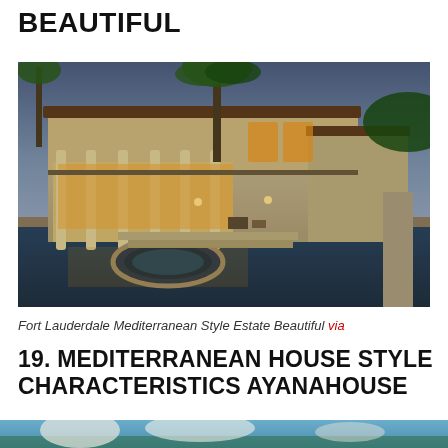BEAUTIFUL
[Figure (photo): Luxury Fort Lauderdale Mediterranean style estate at dusk with pool, spa, palm trees, and illuminated interior]
Fort Lauderdale Mediterranean Style Estate Beautiful via
19. MEDITERRANEAN HOUSE STYLE CHARACTERISTICS AYANAHOUSE
[Figure (photo): Partial view of another Mediterranean house image at bottom of page]